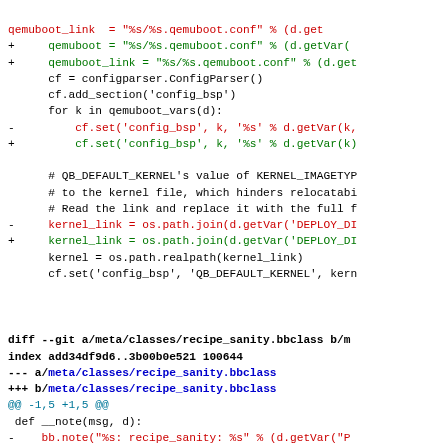[Figure (screenshot): A unified diff view showing code changes. Top section shows changes to a Python script involving qemuboot configuration and kernel_link. Bottom section shows diff for meta/classes/recipe_sanity.bbclass with changes to bb.note calls.]